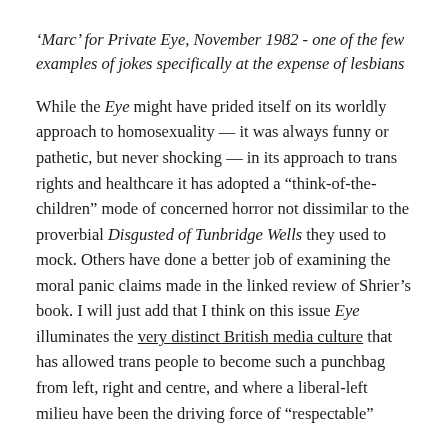'Marc' for Private Eye, November 1982 - one of the few examples of jokes specifically at the expense of lesbians
While the Eye might have prided itself on its worldly approach to homosexuality — it was always funny or pathetic, but never shocking — in its approach to trans rights and healthcare it has adopted a "think-of-the-children" mode of concerned horror not dissimilar to the proverbial Disgusted of Tunbridge Wells they used to mock. Others have done a better job of examining the moral panic claims made in the linked review of Shrier's book. I will just add that I think on this issue Eye illuminates the very distinct British media culture that has allowed trans people to become such a punchbag from left, right and centre, and where a liberal-left milieu have been the driving force of "respectable"